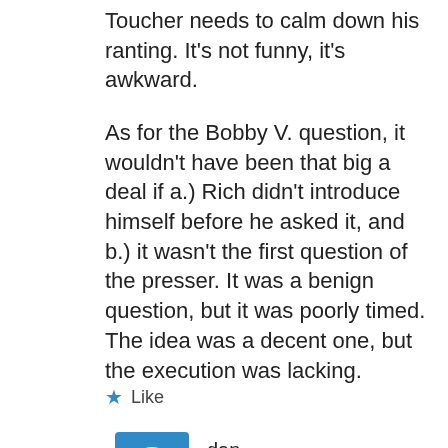Toucher needs to calm down his ranting. It's not funny, it's awkward.
As for the Bobby V. question, it wouldn't have been that big a deal if a.) Rich didn't introduce himself before he asked it, and b.) it wasn't the first question of the presser. It was a benign question, but it was poorly timed. The idea was a decent one, but the execution was lacking.
Like
dan
SEPTEMBER 12, 2012 AT 5:23 PM